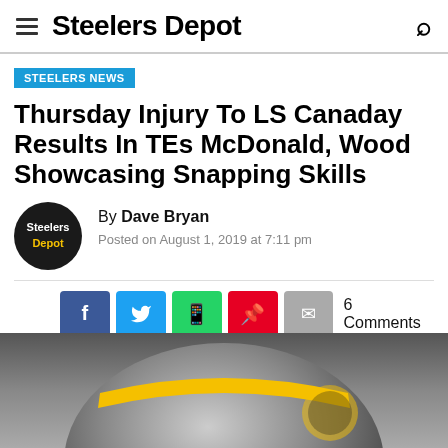Steelers Depot
STEELERS NEWS
Thursday Injury To LS Canaday Results In TEs McDonald, Wood Showcasing Snapping Skills
By Dave Bryan
Posted on August 1, 2019 at 7:11 pm
6 Comments
[Figure (photo): Pittsburgh Steelers helmet photo, partially visible, dark background]